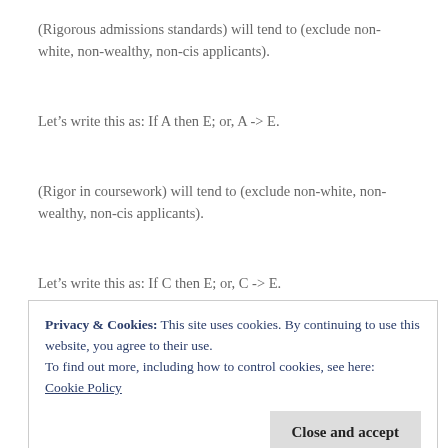(Rigorous admissions standards) will tend to (exclude non-white, non-wealthy, non-cis applicants).
Let’s write this as: If A then E; or, A -> E.
(Rigor in coursework) will tend to (exclude non-white, non-wealthy, non-cis applicants).
Let’s write this as: If C then E; or, C -> E.
Therefore, (rigor in the forms of A or C)** will (perpetuate the
Privacy & Cookies: This site uses cookies. By continuing to use this website, you agree to their use.
To find out more, including how to control cookies, see here:
Cookie Policy
in order to show that (A v C) -> P. These premises logically